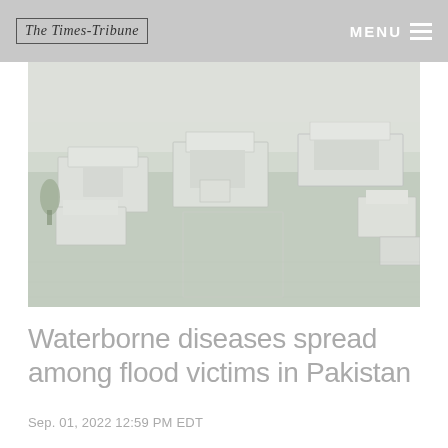The Times-Tribune | MENU
[Figure (photo): Aerial view of flooded buildings and structures submerged in murky water in Pakistan. Rooftops and compound walls are visible above the floodwater.]
Waterborne diseases spread among flood victims in Pakistan
Sep. 01, 2022 12:59 PM EDT